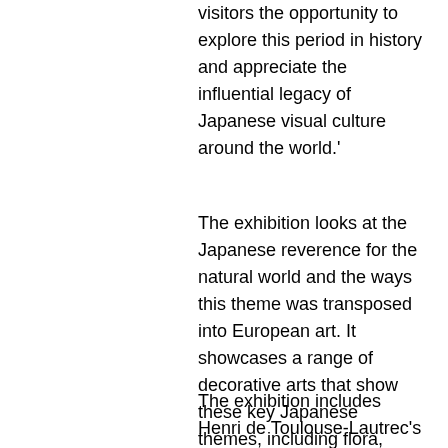visitors the opportunity to explore this period in history and appreciate the influential legacy of Japanese visual culture around the world.'
The exhibition looks at the Japanese reverence for the natural world and the ways this theme was transposed into European art. It showcases a range of decorative arts that show these key Japanese themes, including flora, fauna and the landscape. Such objects mimic a Japanese regard for organic forms, vibrant colours and sensual textures derived from nature.
The exhibition includes Henri de Toulouse-Lautrec's Divan Japonais poster, examples